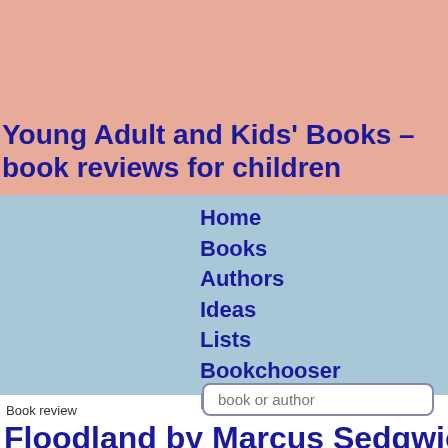Young Adult and Kids' Books – book reviews for children
Home
Books
Authors
Ideas
Lists
Bookchooser
Lucky dip!
book or author
Book review
Floodland by Marcus Sedgwick